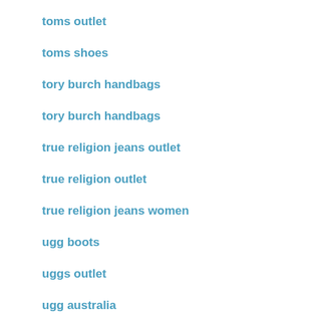toms outlet
toms shoes
tory burch handbags
tory burch handbags
true religion jeans outlet
true religion outlet
true religion jeans women
ugg boots
uggs outlet
ugg australia
ugg